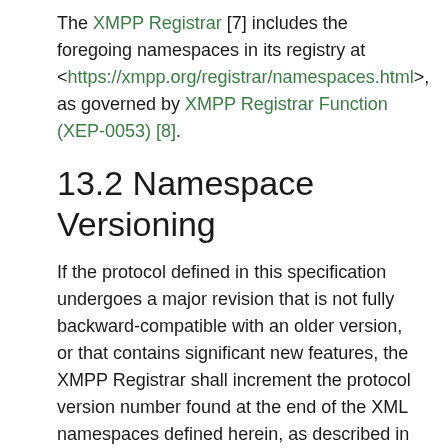The XMPP Registrar [7] includes the foregoing namespaces in its registry at <https://xmpp.org/registrar/namespaces.html>, as governed by XMPP Registrar Function (XEP-0053) [8].
13.2 Namespace Versioning
If the protocol defined in this specification undergoes a major revision that is not fully backward-compatible with an older version, or that contains significant new features, the XMPP Registrar shall increment the protocol version number found at the end of the XML namespaces defined herein, as described in Section 4 of XEP-0053.
13.3 Rayo Components Registry
The XMPP Registrar maintains a registry of Rayo components. All component registrations with the